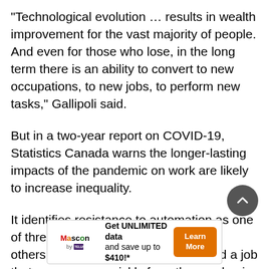“Technological evolution … results in wealth improvement for the vast majority of people. And even for those who lose, in the long term there is an ability to convert to new occupations, to new jobs, to perform new tasks,” Gallipoli said.
But in a two-year report on COVID-19, Statistics Canada warns the longer-lasting impacts of the pandemic on work are likely to increase inequality.
It identifies resistance to automation as one of three measures of job stability. The others are having permanent work and a job that can recover quickly from the pandemic.
[Figure (other): Mascon by TELUS advertisement banner: Get UNLIMITED data and save up to $410!* with a Learn More button]